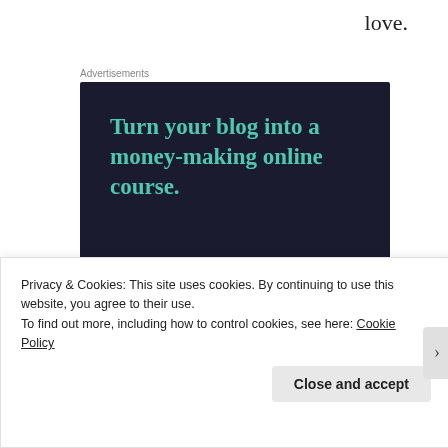love.
Advertisements
[Figure (infographic): Advertisement for Sensei: dark navy background with teal headline 'Turn your blog into a money-making online course.' and a teal pill-shaped 'Learn More' button, with the Sensei logo at the bottom right.]
Privacy & Cookies: This site uses cookies. By continuing to use this website, you agree to their use.
To find out more, including how to control cookies, see here: Cookie Policy